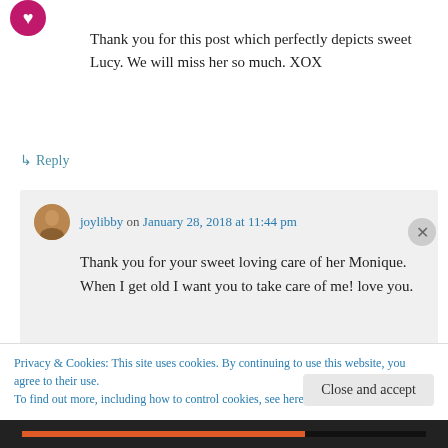[Figure (logo): Pink/magenta circular logo with heart symbol at top left]
Thank you for this post which perfectly depicts sweet Lucy. We will miss her so much. XOX
↳ Reply
joylibby on January 28, 2018 at 11:44 pm
Thank you for your sweet loving care of her Monique. When I get old I want you to take care of me! love you.
Privacy & Cookies: This site uses cookies. By continuing to use this website, you agree to their use.
To find out more, including how to control cookies, see here: Cookie Policy
Close and accept